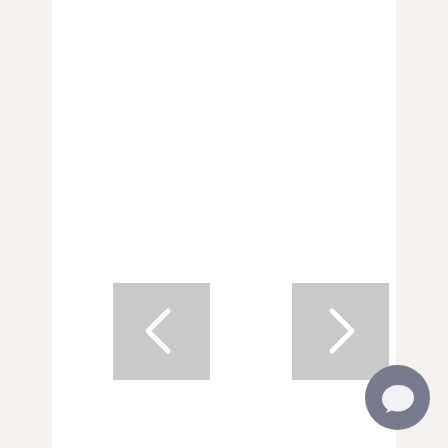[Figure (screenshot): Left navigation arrow button (grey square with white left chevron)]
[Figure (screenshot): Right navigation arrow button (grey square with white right chevron)]
Does It Matter How Much Other Bloggers Earn?
[Figure (illustration): Circular chat/comment icon button in grey-blue color at bottom right]